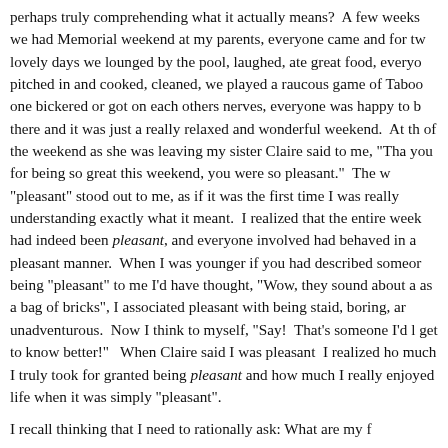perhaps truly comprehending what it actually means?  A few weeks we had Memorial weekend at my parents, everyone came and for two lovely days we lounged by the pool, laughed, ate great food, everyone pitched in and cooked, cleaned, we played a raucous game of Taboo, one bickered or got on each others nerves, everyone was happy to be there and it was just a really relaxed and wonderful weekend.  At the of the weekend as she was leaving my sister Claire said to me, "Thank you for being so great this weekend, you were so pleasant."  The word "pleasant" stood out to me, as if it was the first time I was really understanding exactly what it meant.  I realized that the entire weekend had indeed been pleasant, and everyone involved had behaved in a pleasant manner.  When I was younger if you had described someone being "pleasant" to me I'd have thought, "Wow, they sound about as as a bag of bricks", I associated pleasant with being staid, boring, and unadventurous.  Now I think to myself, "Say!  That's someone I'd like get to know better!"   When Claire said I was pleasant  I realized how much I truly took for granted being pleasant and how much I really enjoyed life when it was simply "pleasant".
I recall thinking that I need to rationally ask: What are my f...